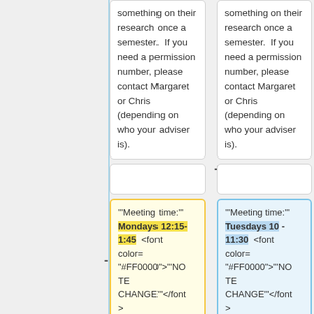something on their research once a semester. If you need a permission number, please contact Margaret or Chris (depending on who your adviser is).
something on their research once a semester. If you need a permission number, please contact Margaret or Chris (depending on who your adviser is).
'"Meeting time:"' Mondays 12:15-1:45 <font color="#FF0000">"'NOTE CHANGE'"</font>
'"Meeting time:"' Tuesdays 10 - 11:30 <font color="#FF0000">"'NOTE CHANGE'"</font>